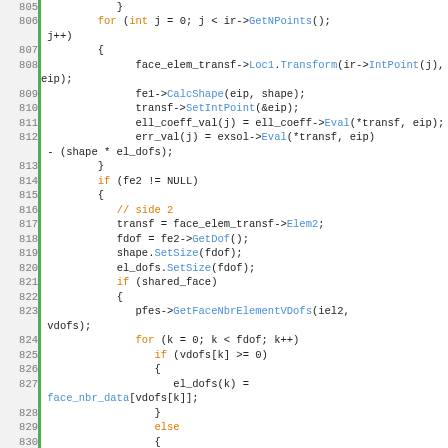[Figure (screenshot): Source code listing lines 805-831 in C++ showing a loop iterating over integration points, computing face element transforms, shapes, and coefficients for finite element assembly. Syntax highlighted with orange keywords and blue method calls on white background with green line number gutter.]